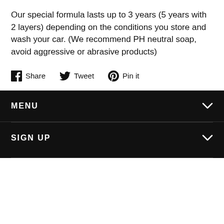Our special formula lasts up to 3 years (5 years with 2 layers) depending on the conditions you store and wash your car. (We recommend PH neutral soap, avoid aggressive or abrasive products)
Share  Tweet  Pin it
MENU
SIGN UP